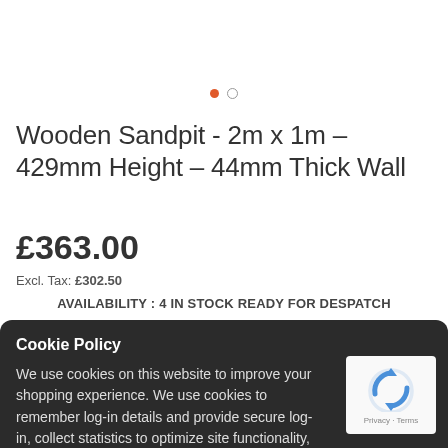[Figure (other): Two carousel navigation dots: one filled orange-red, one empty/outlined]
Wooden Sandpit - 2m x 1m – 429mm Height – 44mm Thick Wall
£363.00
Excl. Tax: £302.50
AVAILABILITY : 4 IN STOCK READY FOR DESPATCH
Cookie Policy
We use cookies on this website to improve your shopping experience. We use cookies to remember log-in details and provide secure log-in, collect statistics to optimize site functionality, and deliver content tailored to your interests. Click accept to give your consent to accept cookies and go directly to the site
I accept
Read more